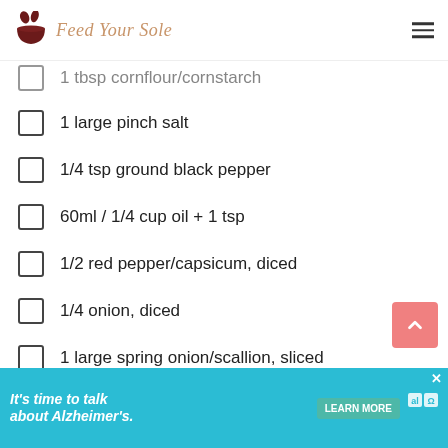Feed Your Sole
1 tbsp cornflour/cornstarch (partially visible)
1 large pinch salt
1/4 tsp ground black pepper
60ml / 1/4 cup oil + 1 tsp
1/2 red pepper/capsicum, diced
1/4 onion, diced
1 large spring onion/scallion, sliced
1 clove garlic, finely chopped/minced
1 chilli, finely chopped
It's time to talk about Alzheimer's. LEARN MORE